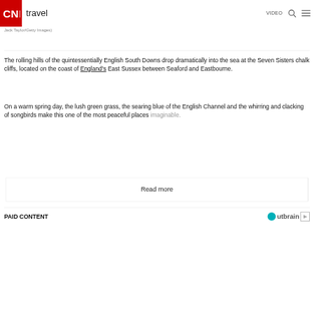CNN travel  VIDEO
Jack Taylor/Getty Images)
The rolling hills of the quintessentially English South Downs drop dramatically into the sea at the Seven Sisters chalk cliffs, located on the coast of England's East Sussex between Seaford and Eastbourne.
On a warm spring day, the lush green grass, the searing blue of the English Channel and the whirring and clacking of songbirds make this one of the most peaceful places imaginable.
Read more
PAID CONTENT